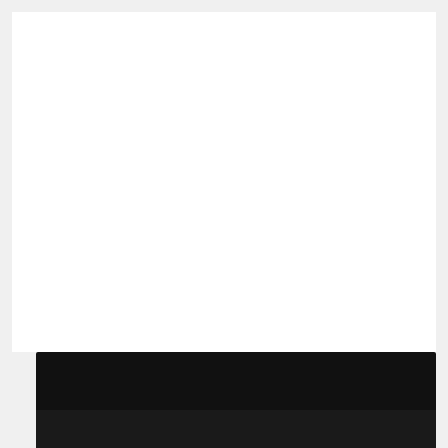[Figure (screenshot): A dark/black panel at the bottom of the page with a green button labeled 'CALL NETFLIX CUSTOMER SERVICE NUMBER' in white uppercase text.]